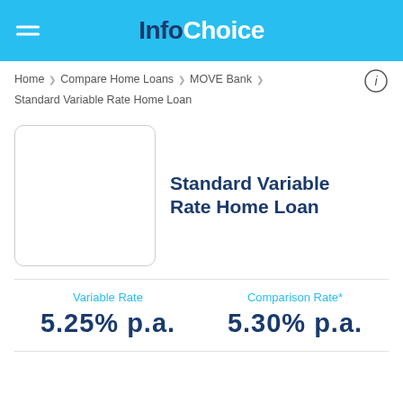InfoChoice
Home › Compare Home Loans › MOVE Bank › Standard Variable Rate Home Loan
[Figure (logo): MOVE Bank product logo placeholder box]
Standard Variable Rate Home Loan
Variable Rate
5.25% p.a.
Comparison Rate*
5.30% p.a.